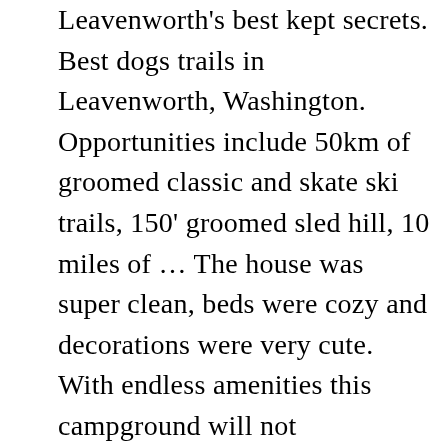Leavenworth's best kept secrets. Best dogs trails in Leavenworth, Washington. Opportunities include 50km of groomed classic and skate ski trails, 150' groomed sled hill, 10 miles of ... The house was super clean, beds were cozy and decorations were very cute. With endless amenities this campground will not disappoint! Located near Lake Wenatchee and Fish Lake. (9 votes, average: 3.78 out of 5) Submitted by austinmay. | Terms of Use | Privacy Policy | Sitemap | Owner Login, Powered by: LiveRez.com Vacation Rental Software, Leavenworth Things to Do, Spring, Summer, and Fall, Leavenworth Ranger Station (U.S. Forest Service). NW Comfy Cabins Vacation Rentals +1 (509) 763-0180 (0) My